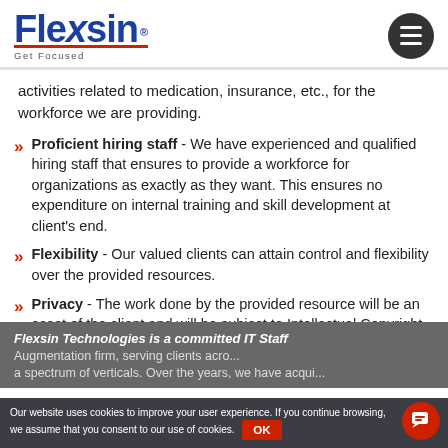Flexsin® — Get Focused
activities related to medication, insurance, etc., for the workforce we are providing.
Proficient hiring staff - We have experienced and qualified hiring staff that ensures to provide a workforce for organizations as exactly as they want. This ensures no expenditure on internal training and skill development at client's end.
Flexibility - Our valued clients can attain control and flexibility over the provided resources.
Privacy - The work done by the provided resource will be an asset of the client and will be subject to Intellectual Copyright Acts.
Flexsin Technologies is a committed IT Staff Augmentation firm, serving clients across a spectrum of verticals. Over the years, we have acqui...
Our website uses cookies to improve your user experience. If you continue browsing, we assume that you consent to our use of cookies. OK